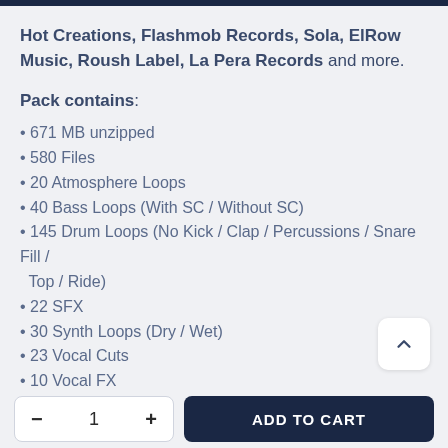Hot Creations, Flashmob Records, Sola, ElRow Music, Roush Label, La Pera Records and more.
Pack contains:
671 MB unzipped
580 Files
20 Atmosphere Loops
40 Bass Loops (With SC / Without SC)
145 Drum Loops (No Kick / Clap / Percussions / Snare Fill / Top / Ride)
22 SFX
30 Synth Loops (Dry / Wet)
23 Vocal Cuts
10 Vocal FX
30 Vocal Loops (Dry / Wet)
25 Vocal Phrases